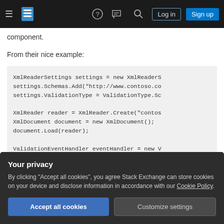Stack Exchange navigation bar with hamburger menu, logo, help, chat, search icons, Log in and Sign up buttons
component.
From their nice example:
XmlReaderSettings settings = new XmlReaderS
settings.Schemas.Add("http://www.contoso.co
settings.ValidationType = ValidationType.Sc

XmlReader reader = XmlReader.Create("contos
XmlDocument document = new XmlDocument();
document.Load(reader);

ValidationEventHandler eventHandler = new V
Your privacy
By clicking "Accept all cookies", you agree Stack Exchange can store cookies on your device and disclose information in accordance with our Cookie Policy.
Accept all cookies    Customize settings